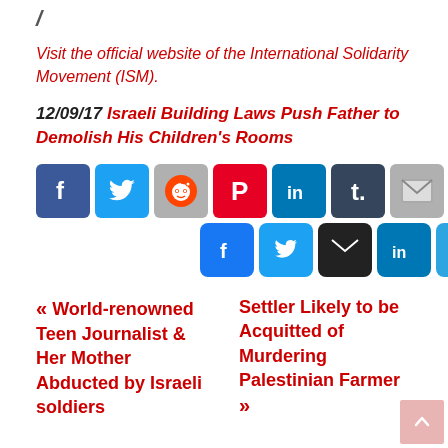/
Visit the official website of the International Solidarity Movement (ISM).
12/09/17 Israeli Building Laws Push Father to Demolish His Children's Rooms
[Figure (infographic): Social media sharing buttons: Facebook, Twitter, Reddit, Pinterest, LinkedIn, Tumblr, Email (top row); Facebook, Twitter, Email, LinkedIn, Telegram, Pinterest (bottom row)]
« World-renowned Teen Journalist & Her Mother Abducted by Israeli soldiers
Settler Likely to be Acquitted of Murdering Palestinian Farmer »